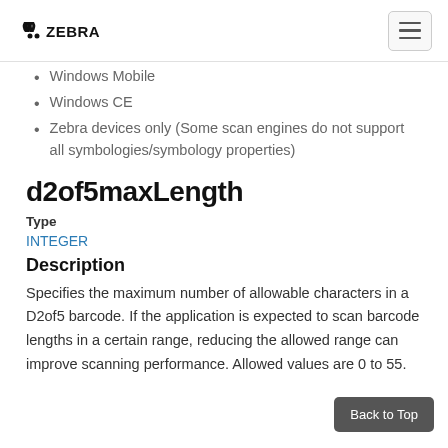Zebra
Windows Mobile
Windows CE
Zebra devices only (Some scan engines do not support all symbologies/symbology properties)
d2of5maxLength
Type
INTEGER
Description
Specifies the maximum number of allowable characters in a D2of5 barcode. If the application is expected to scan barcode lengths in a certain range, reducing the allowed range can improve scanning performance. Allowed values are 0 to 55.